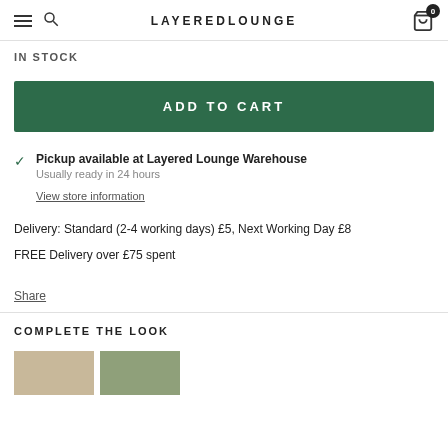LAYEREDLOUNGE
IN STOCK
ADD TO CART
Pickup available at Layered Lounge Warehouse
Usually ready in 24 hours
View store information
Delivery: Standard (2-4 working days) £5, Next Working Day £8
FREE Delivery over £75 spent
Share
COMPLETE THE LOOK
[Figure (photo): Product thumbnail image left]
[Figure (photo): Product thumbnail image right]